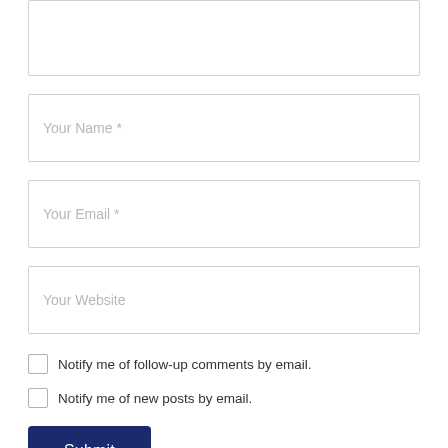[Figure (screenshot): Partial text input box (comment area) at top of page, partially cut off]
Your Name *
Your Email *
Your Website
Notify me of follow-up comments by email.
Notify me of new posts by email.
Submit